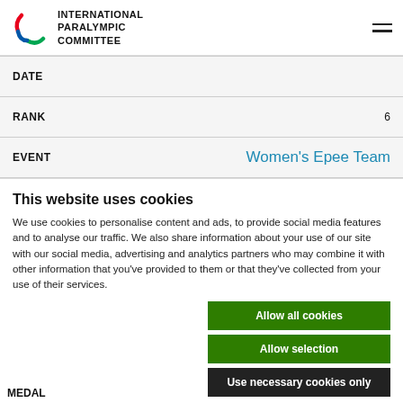International Paralympic Committee
| Field | Value |
| --- | --- |
| DATE |  |
| RANK | 6 |
| EVENT | Women's Epee Team |
This website uses cookies
We use cookies to personalise content and ads, to provide social media features and to analyse our traffic. We also share information about your use of our site with our social media, advertising and analytics partners who may combine it with other information that you've provided to them or that they've collected from your use of their services.
Allow all cookies
Allow selection
Use necessary cookies only
Necessary  Preferences  Statistics  Show details  Marketing
Women's Epe...
MEDAL